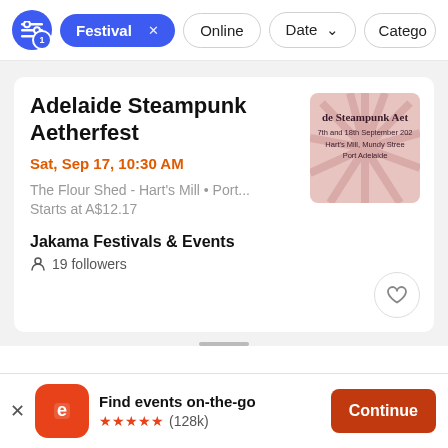Festival × | Online | Date ↓ | Catego…
Adelaide Steampunk Aetherfest
Sat, Sep 17, 10:30 AM
The Flour Shed - Hart's Mill • Port...
Starts at A$12.17
Jakama Festivals & Events
19 followers
[Figure (illustration): Event thumbnail showing steampunk-themed poster with sunburst rays, text: de Steampunk Aet, 7th and 18th September 202, Hart's Mill, Mundy Stree, Port Adelaide]
Find events on-the-go
★★★★★ (128k)
Continue